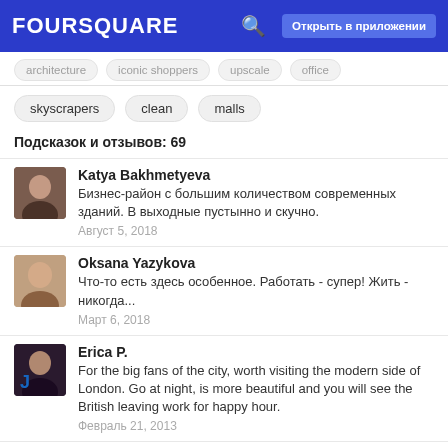FOURSQUARE — Открыть в приложении
skyscrapers   clean   malls
Подсказок и отзывов: 69
Katya Bakhmetyeva
Бизнес-район с большим количеством современных зданий. В выходные пустынно и скучно.
Август 5, 2018
Oksana Yazykova
Что-то есть здесь особенное. Работать - супер! Жить - никогда...
Март 6, 2018
Erica P.
For the big fans of the city, worth visiting the modern side of London. Go at night, is more beautiful and you will see the British leaving work for happy hour.
Февраль 21, 2013
Artur Fie
Awesome place during day and night. There is enormous